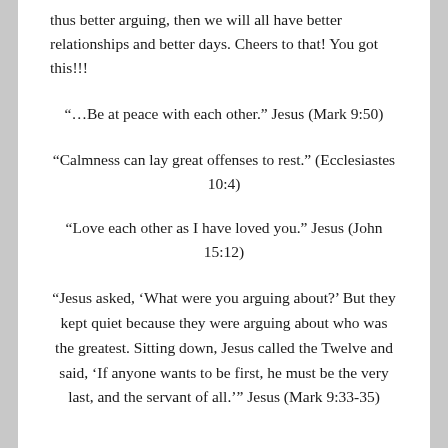thus better arguing, then we will all have better relationships and better days. Cheers to that! You got this!!!
“…Be at peace with each other.” Jesus (Mark 9:50)
“Calmness can lay great offenses to rest.” (Ecclesiastes 10:4)
“Love each other as I have loved you.” Jesus (John 15:12)
“Jesus asked, ‘What were you arguing about?’ But they kept quiet because they were arguing about who was the greatest. Sitting down, Jesus called the Twelve and said, ‘If anyone wants to be first, he must be the very last, and the servant of all.’” Jesus (Mark 9:33-35)